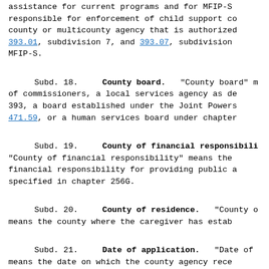assistance for current programs and for MFIP-S responsible for enforcement of child support co county or multicounty agency that is authorized 393.01, subdivision 7, and 393.07, subdivision MFIP-S.
Subd. 18. County board. "County board" m of commissioners, a local services agency as de 393, a board established under the Joint Powers 471.59, or a human services board under chapter
Subd. 19. County of financial responsibi "County of financial responsibility" means the financial responsibility for providing public a specified in chapter 256G.
Subd. 20. County of residence. "County o means the county where the caregiver has estab
Subd. 21. Date of application. "Date of means the date on which the county agency rece